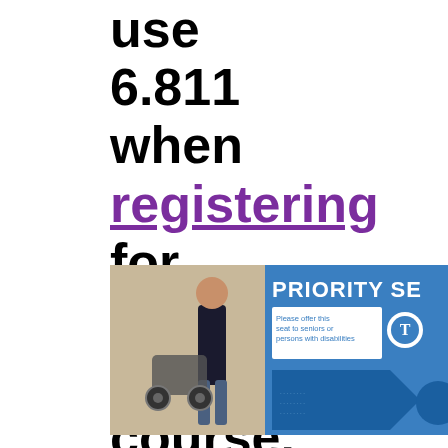use 6.811 when registering for the PPAT course.
[Figure (photo): A person standing next to a wheelchair in front of a blue 'PRIORITY SEATING' sign on what appears to be a transit vehicle. The sign reads 'Please offer this seat to seniors or persons with disabilities' with a MBTA (T) logo.]
Lectures: Monday and